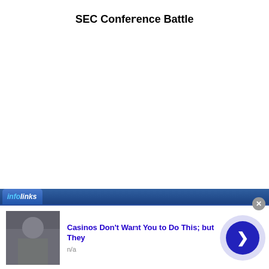SEC Conference Battle
[Figure (screenshot): Infolinks advertisement bar with logo and ad unit showing 'Casinos Don't Want You to Do This; but They' with thumbnail image, source 'n/a', and a blue arrow navigation button. A close button is visible at top right.]